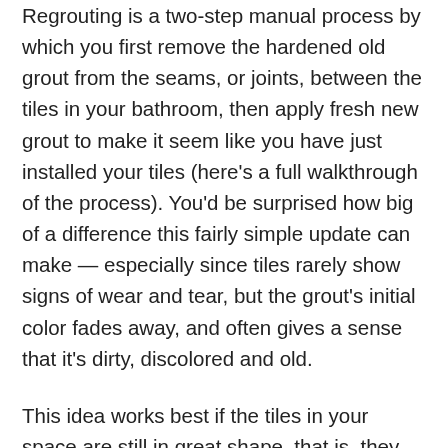Regrouting is a two-step manual process by which you first remove the hardened old grout from the seams, or joints, between the tiles in your bathroom, then apply fresh new grout to make it seem like you have just installed your tiles (here's a full walkthrough of the process). You'd be surprised how big of a difference this fairly simple update can make — especially since tiles rarely show signs of wear and tear, but the grout's initial color fades away, and often gives a sense that it's dirty, discolored and old.
This idea works best if the tiles in your space are still in great shape, that is, they don't have cracks or missing pieces. Although it may take a bit of work, it's surely faster and cheaper than a major bathroom overhaul. Fresh grout will make the tiled area look brand new, and you can even apply a new grout color to make a more dramatic